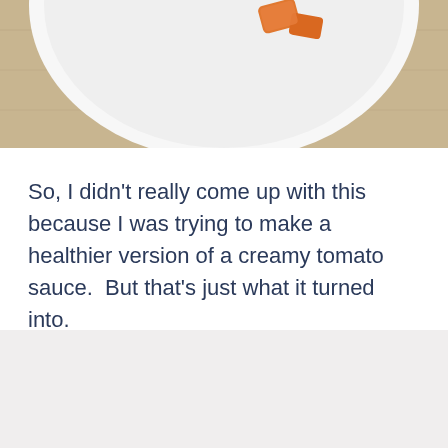[Figure (photo): A white bowl on a wooden surface containing food pieces with orange/tomato-colored sauce, viewed from above. Only the top portion of the bowl is visible.]
So, I didn't really come up with this because I was trying to make a healthier version of a creamy tomato sauce.  But that's just what it turned into.